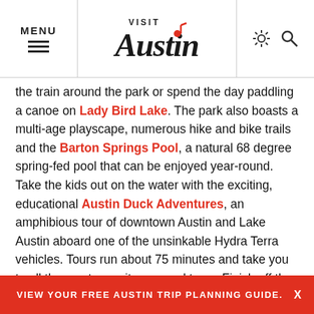MENU | Visit Austin | [sun icon] [search icon]
the train around the park or spend the day paddling a canoe on Lady Bird Lake. The park also boasts a multi-age playscape, numerous hike and bike trails and the Barton Springs Pool, a natural 68 degree spring-fed pool that can be enjoyed year-round.
Take the kids out on the water with the exciting, educational Austin Duck Adventures, an amphibious tour of downtown Austin and Lake Austin aboard one of the unsinkable Hydra Terra vehicles. Tours run about 75 minutes and take you to all the must-see sites around town. Finish off the experience with a stop at one of Austin's many
VIEW YOUR FREE AUSTIN TRIP PLANNING GUIDE.